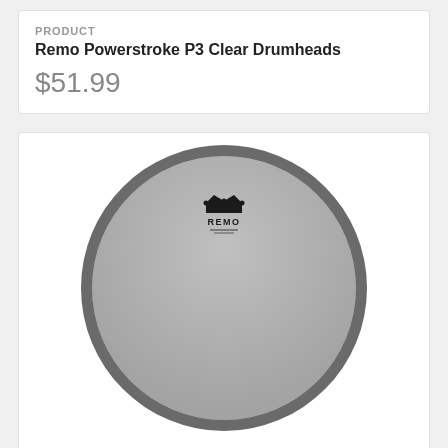PRODUCT
Remo Powerstroke P3 Clear Drumheads
$51.99
[Figure (photo): Remo Ambassador Renaissance drumhead - a circular drum head with a silver/grey surface and the Remo logo crown emblem at the top center]
PRODUCT
Remo Ambassador Renaissance Drumheads
$27.99